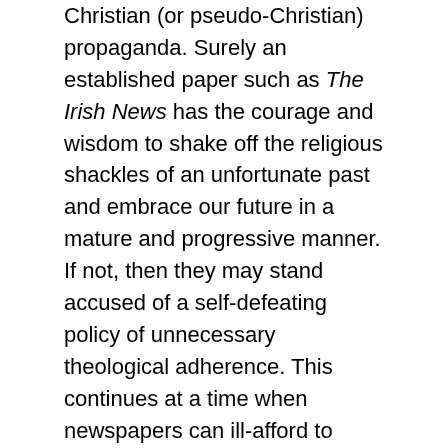Christian (or pseudo-Christian) propaganda. Surely an established paper such as The Irish News has the courage and wisdom to shake off the religious shackles of an unfortunate past and embrace our future in a mature and progressive manner. If not, then they may stand accused of a self-defeating policy of unnecessary theological adherence. This continues at a time when newspapers can ill-afford to alienate readers, least of all those who may hold a much needed radical approach to comprehensively improving our society.
When one observes the role that (pseudo-) Christian ideology, and in particular the Catholic Church, plays in the everyday lives of the people of Ireland, questions can reasonably be asked as to how deeply theist organizations such as Opus Dei, and perhaps more especially the Knights of Saint